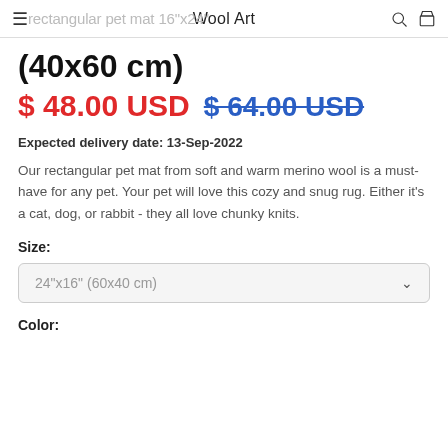Wool Art
(40x60 cm)
$ 48.00 USD  $ 64.00 USD
Expected delivery date: 13-Sep-2022
Our rectangular pet mat from soft and warm merino wool is a must-have for any pet. Your pet will love this cozy and snug rug. Either it's a cat, dog, or rabbit - they all love chunky knits.
Size:
24"x16" (60x40 cm)
Color: